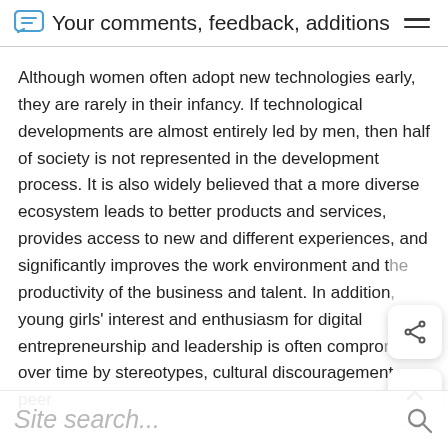Your comments, feedback, additions
Although women often adopt new technologies early, they are rarely in their infancy. If technological developments are almost entirely led by men, then half of society is not represented in the development process. It is also widely believed that a more diverse ecosystem leads to better products and services, provides access to new and different experiences, and significantly improves the work environment and the productivity of the business and talent. In addition, young girls' interest and enthusiasm for digital entrepreneurship and leadership is often compromised over time by stereotypes, cultural discouragement, peer lack of inspiration and role models, resulting in a lack of confidence, and more…